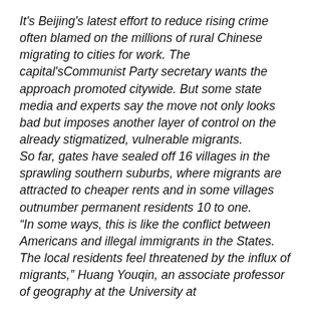It's Beijing's latest effort to reduce rising crime often blamed on the millions of rural Chinese migrating to cities for work. The capital'sCommunist Party secretary wants the approach promoted citywide. But some state media and experts say the move not only looks bad but imposes another layer of control on the already stigmatized, vulnerable migrants.
So far, gates have sealed off 16 villages in the sprawling southern suburbs, where migrants are attracted to cheaper rents and in some villages outnumber permanent residents 10 to one.
“In some ways, this is like the conflict between Americans and illegal immigrants in the States. The local residents feel threatened by the influx of migrants,” Huang Youqin, an associate professor of geography at the University at